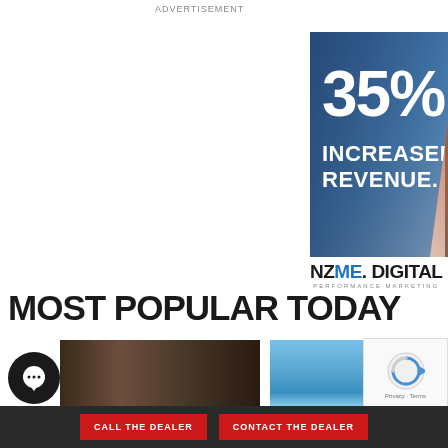ADVERTISEMENT
[Figure (photo): Advertisement banner showing two people shaking hands with text '35% INCREASED REVENUE.' overlaid on the left side against a blue background, with NZME.DIGITAL PERFORMANCE MARKETING logo and FIND OUT MORE button below]
MOST POPULAR TODAY
[Figure (photo): Partial thumbnail image - dark brown/wooden surface on the left side]
[Figure (photo): Partial thumbnail image - blue sky on the right side]
[Figure (other): reCAPTCHA widget with Privacy and Terms links]
[Figure (other): Chat/comment icon - black circle with speech bubble]
CALL THE DEALER
CONTACT THE DEALER